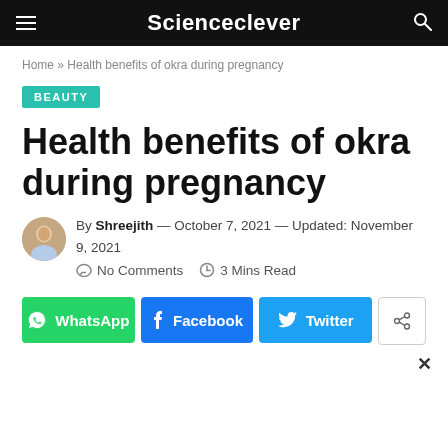Scienceclever
Home » Health benefits of okra during pregnancy
BEAUTY
Health benefits of okra during pregnancy
By Shreejith — October 7, 2021 — Updated: November 9, 2021   No Comments   3 Mins Read
[Figure (infographic): Social share buttons: WhatsApp (green), Facebook (blue), Twitter (light blue), and a generic share icon (white with border)]